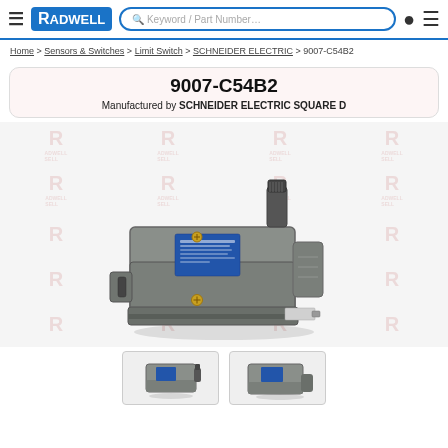Radwell — Keyword / Part Number search bar
Home > Sensors & Switches > Limit Switch > SCHNEIDER ELECTRIC > 9007-C54B2
9007-C54B2
Manufactured by SCHNEIDER ELECTRIC SQUARE D
[Figure (photo): Photo of Schneider Electric Square D 9007-C54B2 limit switch, grey metal body with blue label, gold screws, and plunger actuator on top, shown on white background with Radwell watermarks]
[Figure (photo): Thumbnail 1: front view of limit switch with plunger]
[Figure (photo): Thumbnail 2: side view of limit switch]